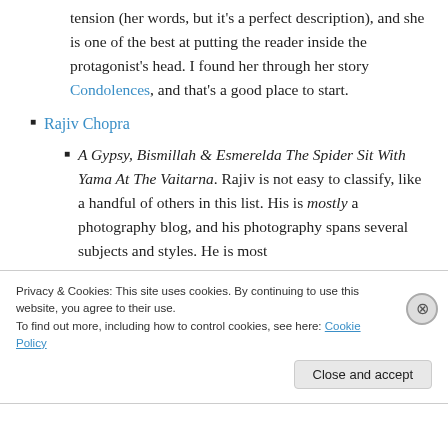tension (her words, but it's a perfect description), and she is one of the best at putting the reader inside the protagonist's head. I found her through her story Condolences, and that's a good place to start.
Rajiv Chopra
A Gypsy, Bismillah & Esmerelda The Spider Sit With Yama At The Vaitarna. Rajiv is not easy to classify, like a handful of others in this list. His is mostly a photography blog, and his photography spans several subjects and styles. He is most
Privacy & Cookies: This site uses cookies. By continuing to use this website, you agree to their use. To find out more, including how to control cookies, see here: Cookie Policy
Close and accept